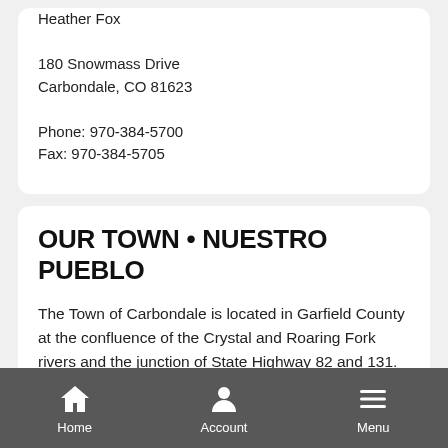Heather Fox

180 Snowmass Drive
Carbondale, CO 81623

Phone: 970-384-5700
Fax: 970-384-5705
OUR TOWN • NUESTRO PUEBLO
The Town of Carbondale is located in Garfield County at the confluence of the Crystal and Roaring Fork rivers and the junction of State Highway 82 and 131. Carbondale's horizon is dominated by the 12,953 foot tall Mount Sopris
Home  Account  Menu